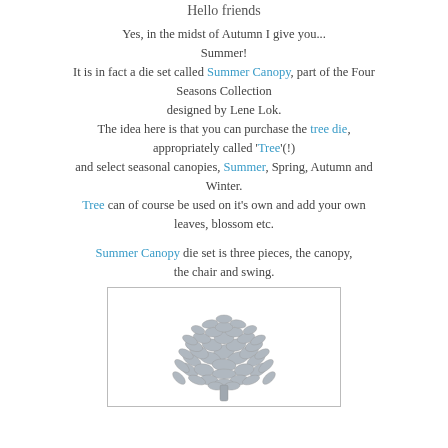Hello friends
Yes, in the midst of Autumn I give you... Summer! It is in fact a die set called Summer Canopy, part of the Four Seasons Collection designed by Lene Lok. The idea here is that you can purchase the tree die, appropriately called 'Tree'(!) and select seasonal canopies, Summer, Spring, Autumn and Winter. Tree can of course be used on it's own and add your own leaves, blossom etc.
Summer Canopy die set is three pieces, the canopy, the chair and swing.
[Figure (photo): A silver/grey die-cut metal tree canopy die — a dense cluster of oval leaf shapes forming a round canopy, shown as a flat metallic die piece on a white background.]